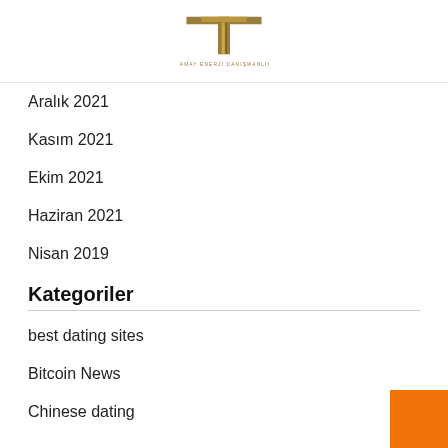TAMAY ENERJI DANISMANLIK (logo)
Aralık 2021
Kasım 2021
Ekim 2021
Haziran 2021
Nisan 2019
Kategoriler
best dating sites
Bitcoin News
Chinese dating